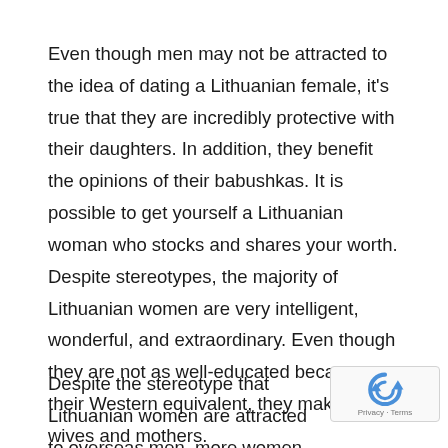Even though men may not be attracted to the idea of dating a Lithuanian female, it's true that they are incredibly protective with their daughters. In addition, they benefit the opinions of their babushkas. It is possible to get yourself a Lithuanian woman who stocks and shares your worth. Despite stereotypes, the majority of Lithuanian women are very intelligent, wonderful, and extraordinary. Even though they are not as well-educated because their Western equivalent, they make good wives and mothers.
Despite the stereotype that Lithuanian women are attracted to overseas men, more women are now dating